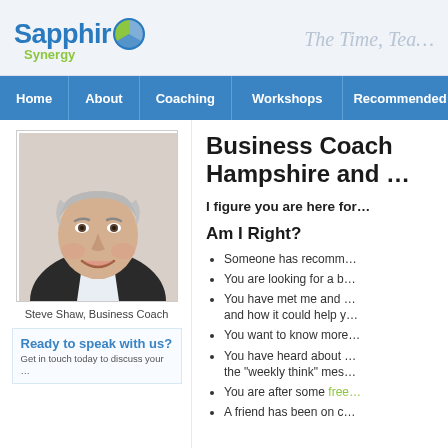[Figure (logo): Sapphire Synergy logo with pie chart icon in blue and green]
The Time, Tea…
Home | About | Coaching | Workshops | Recommended…
[Figure (photo): Steve Shaw, Business Coach - headshot of older gentleman with grey hair, smiling, wearing dark jacket]
Steve Shaw, Business Coach
Ready to speak with us?
Business Coach Hampshire and …
I figure you are here for…
Am I Right?
Someone has recomm…
You are looking for a b…
You have met me and … and how it could help y…
You want to know more…
You have heard about … the "weekly think" mes…
You are after some free…
A friend has been on c…